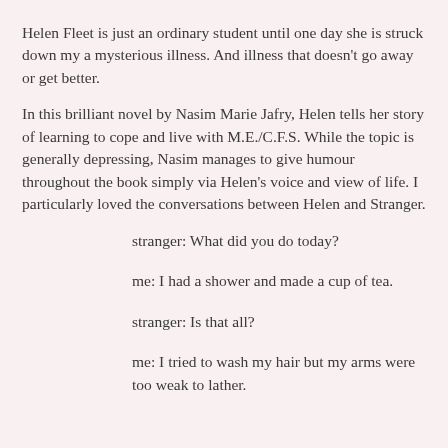Helen Fleet is just an ordinary student until one day she is struck down my a mysterious illness.  And illness that doesn't go away or get better.
In this brilliant novel by Nasim Marie Jafry, Helen tells her story of learning to cope and live with M.E./C.F.S.  While the topic is generally depressing, Nasim manages to give humour throughout the book simply via Helen's voice and view of life.  I particularly loved the conversations between Helen and Stranger.
stranger: What did you do today?
me: I had a shower and made a cup of tea.
stranger: Is that all?
me: I tried to wash my hair but my arms were too weak to lather.